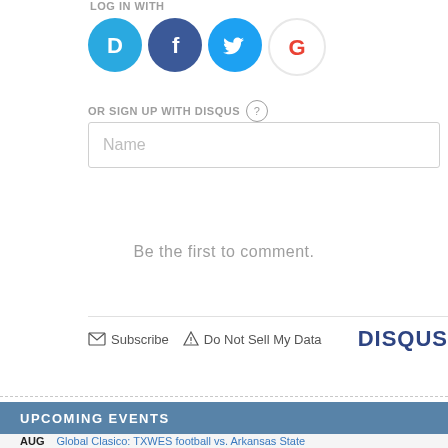LOG IN WITH
[Figure (logo): Four social login icons: Disqus (blue D), Facebook (dark blue f), Twitter (blue bird), Google (colorful G)]
OR SIGN UP WITH DISQUS ?
Name (input field placeholder)
Be the first to comment.
Subscribe  Do Not Sell My Data  DISQUS
UPCOMING EVENTS
AUG  Global Clasico: TXWES football vs. Arkansas State